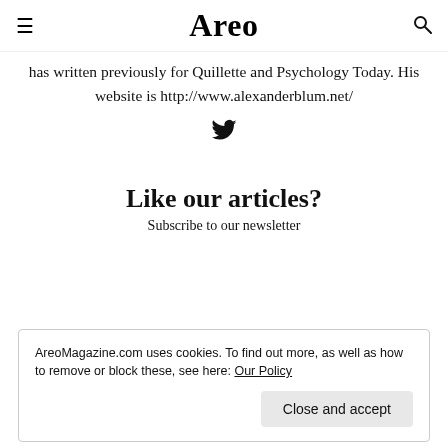Areo
has written previously for Quillette and Psychology Today. His website is http://www.alexanderblum.net/
[Figure (illustration): Twitter bird icon]
Like our articles?
Subscribe to our newsletter
AreoMagazine.com uses cookies. To find out more, as well as how to remove or block these, see here: Our Policy
Close and accept